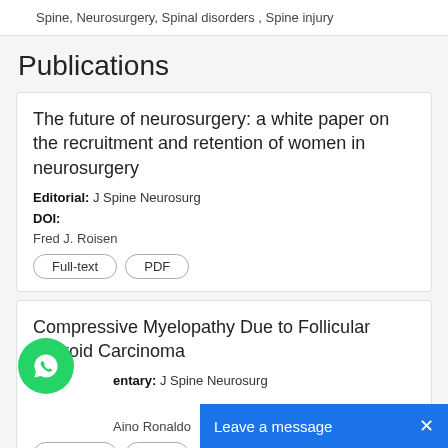Spine, Neurosurgery, Spinal disorders , Spine injury
Publications
The future of neurosurgery: a white paper on the recruitment and retention of women in neurosurgery
Editorial: J Spine Neurosurg
DOI:
Fred J. Roisen
Full-text  PDF
Compressive Myelopathy Due to Follicular Thyroid Carcinoma
Commentary: J Spine Neurosurg
Aino Ronaldo
Full-text  PDF